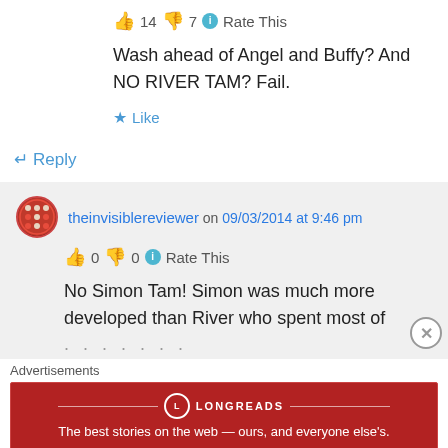👍 14 👎 7 ℹ Rate This
Wash ahead of Angel and Buffy? And NO RIVER TAM? Fail.
★ Like
↵ Reply
theinvisiblereviewer on 09/03/2014 at 9:46 pm
👍 0 👎 0 ℹ Rate This
No Simon Tam! Simon was much more developed than River who spent most of
Advertisements
LONGREADS
The best stories on the web — ours, and everyone else's.